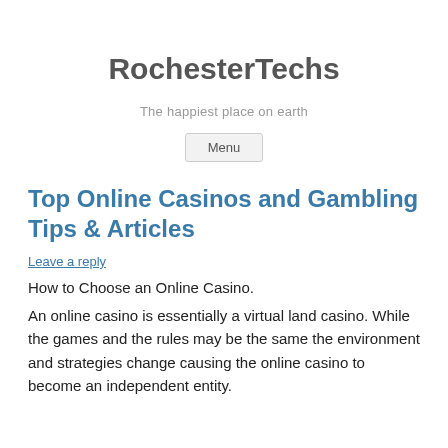RochesterTechs
The happiest place on earth
Menu
Top Online Casinos and Gambling Tips & Articles
Leave a reply
How to Choose an Online Casino.
An online casino is essentially a virtual land casino. While the games and the rules may be the same the environment and strategies change causing the online casino to become an independent entity.